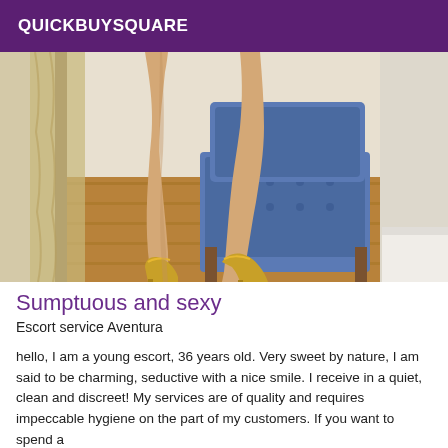QUICKBUYSQUARE
[Figure (photo): Close-up photo of a woman's legs wearing gold high heel shoes, resting one foot on a blue tufted chair in a room with hardwood floors and a curtain in the background.]
Sumptuous and sexy
Escort service Aventura
hello, I am a young escort, 36 years old. Very sweet by nature, I am said to be charming, seductive with a nice smile. I receive in a quiet, clean and discreet! My services are of quality and requires impeccable hygiene on the part of my customers. If you want to spend a